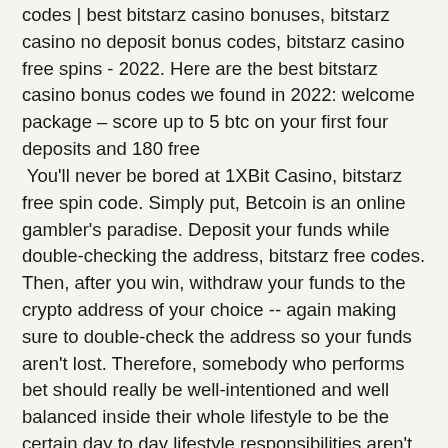codes | best bitstarz casino bonuses, bitstarz casino no deposit bonus codes, bitstarz casino free spins - 2022. Here are the best bitstarz casino bonus codes we found in 2022: welcome package – score up to 5 btc on your first four deposits and 180 free  You'll never be bored at 1XBit Casino, bitstarz free spin code. Simply put, Betcoin is an online gambler's paradise. Deposit your funds while double-checking the address, bitstarz free codes. Then, after you win, withdraw your funds to the crypto address of your choice -- again making sure to double-check the address so your funds aren't lost. Therefore, somebody who performs bet should really be well-intentioned and well balanced inside their whole lifestyle to be the certain day to day lifestyle responsibilities aren't bothered or motivated through gambling, bitstarz free spins bonus. It's crucial to be aware that gambling can be just a kind of cost perhaps not really a